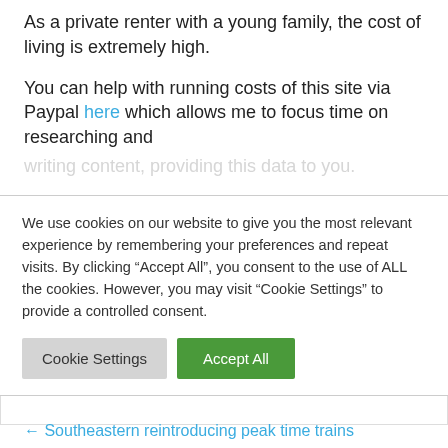As a private renter with a young family, the cost of living is extremely high.
You can help with running costs of this site via Paypal here which allows me to focus time on researching and
We use cookies on our website to give you the most relevant experience by remembering your preferences and repeat visits. By clicking “Accept All”, you consent to the use of ALL the cookies. However, you may visit “Cookie Settings” to provide a controlled consent.
Cookie Settings
Accept All
Thank you
← Southeastern reintroducing peak time trains